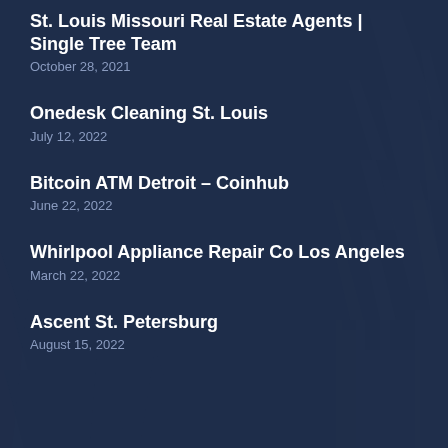St. Louis Missouri Real Estate Agents | Single Tree Team
October 28, 2021
Onedesk Cleaning St. Louis
July 12, 2022
Bitcoin ATM Detroit – Coinhub
June 22, 2022
Whirlpool Appliance Repair Co Los Angeles
March 22, 2022
Ascent St. Petersburg
August 15, 2022